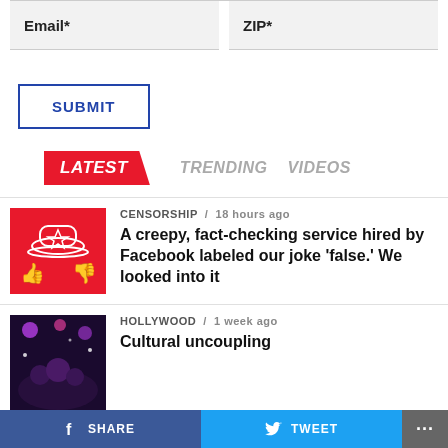Email*
ZIP*
SUBMIT
LATEST  TRENDING  VIDEOS
CENSORSHIP / 18 hours ago
A creepy, fact-checking service hired by Facebook labeled our joke 'false.' We looked into it
HOLLYWOOD / 1 week ago
Cultural uncoupling
CRIME / 1 week ago
'Don't say pedal' Our media's awkward silence
SHARE  TWEET  ...